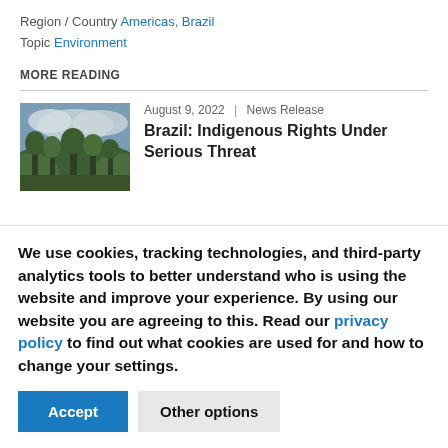Region / Country Americas, Brazil
Topic Environment
MORE READING
[Figure (photo): Landscape photo showing green tropical vegetation and trees with a cloudy sky]
August 9, 2022 | News Release
Brazil: Indigenous Rights Under Serious Threat
We use cookies, tracking technologies, and third-party analytics tools to better understand who is using the website and improve your experience. By using our website you are agreeing to this. Read our privacy policy to find out what cookies are used for and how to change your settings.
Accept
Other options